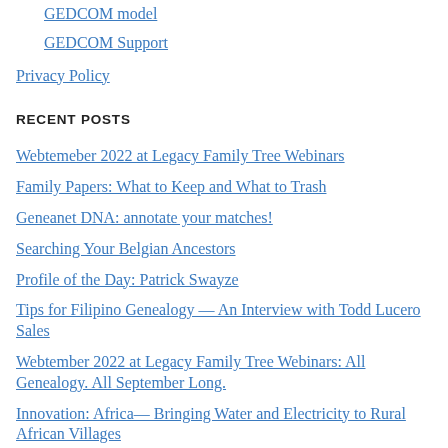GEDCOM model
GEDCOM Support
Privacy Policy
RECENT POSTS
Webtemeber 2022 at Legacy Family Tree Webinars
Family Papers: What to Keep and What to Trash
Geneanet DNA: annotate your matches!
Searching Your Belgian Ancestors
Profile of the Day: Patrick Swayze
Tips for Filipino Genealogy — An Interview with Todd Lucero Sales
Webtember 2022 at Legacy Family Tree Webinars: All Genealogy. All September Long.
Innovation: Africa— Bringing Water and Electricity to Rural African Villages